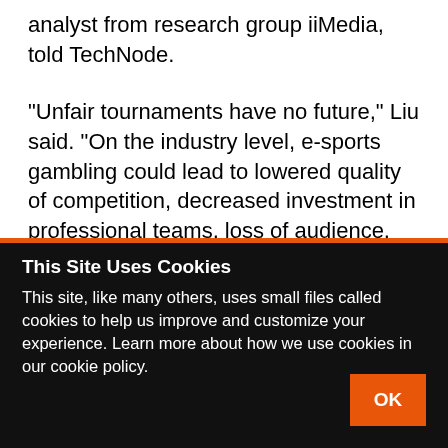analyst from research group iiMedia, told TechNode.
“Unfair tournaments have no future,” Liu said. “On the industry level, e-sports gambling could lead to lowered quality of competition, decreased investment in professional teams, loss of audience, and loss of advertisers.”
Liao Xuhua, an analyst at data consultancy firm
This Site Uses Cookies
This site, like many others, uses small files called cookies to help us improve and customize your experience. Learn more about how we use cookies in our cookie policy.